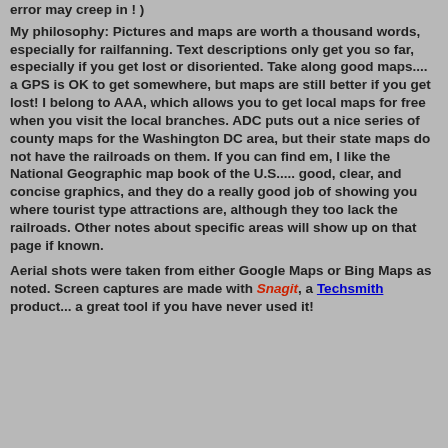error may creep in ! )
My philosophy: Pictures and maps are worth a thousand words, especially for railfanning.  Text descriptions only get you so far, especially if you get lost or disoriented.  Take along good maps.... a GPS is OK to get somewhere, but maps are still better if you get lost!  I belong to AAA, which allows you to get local maps for free when you visit the local branches.  ADC puts out a nice series of county maps for the Washington DC area, but their state maps do not have the railroads on them.  If you can find em, I like the National Geographic map book of the U.S..... good, clear, and concise graphics, and they do a really good job of showing you where tourist type attractions are, although they too lack the railroads.  Other notes about specific areas will show up on that page if known.
Aerial shots were taken from either Google Maps or Bing Maps as noted.  Screen captures are made with Snagit, a Techsmith product... a great tool if you have never used it!